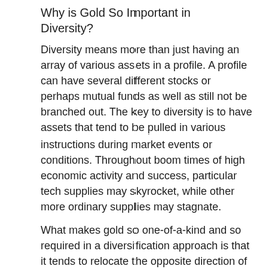Why is Gold So Important in Diversity?
Diversity means more than just having an array of various assets in a profile. A profile can have several different stocks or perhaps mutual funds as well as still not be branched out. The key to diversity is to have assets that tend to be pulled in various instructions during market events or conditions. Throughout boom times of high economic activity and success, particular tech supplies may skyrocket, while other more ordinary supplies may stagnate.
What makes gold so one-of-a-kind and so required in a diversification approach is that it tends to relocate the opposite direction of